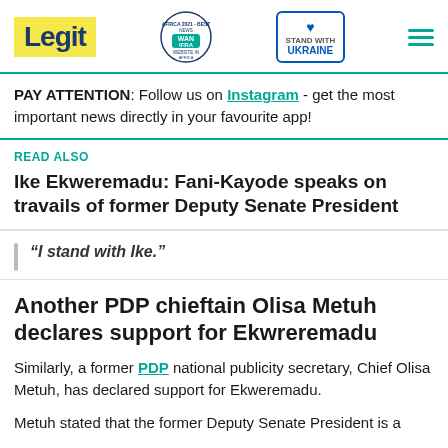[Figure (logo): Legit.ng website header with Legit logo in yellow box, WAN-IFRA Best News Website in Africa 2021 award badge, Stand With Ukraine badge, and hamburger menu icon]
PAY ATTENTION: Follow us on Instagram - get the most important news directly in your favourite app!
READ ALSO
Ike Ekweremadu: Fani-Kayode speaks on travails of former Deputy Senate President
“I stand with Ike.”
Another PDP chieftain Olisa Metuh declares support for Ekwreremadu
Similarly, a former PDP national publicity secretary, Chief Olisa Metuh, has declared support for Ekweremadu.
Metuh stated that the former Deputy Senate President is a